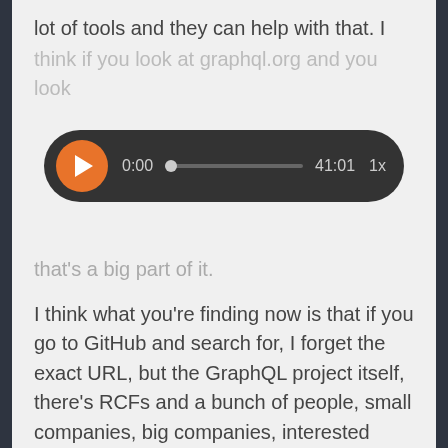lot of tools and they can help with that. I think if you look at graphql.org and you look
[Figure (screenshot): Audio player widget with orange play button, showing time 0:00 and total duration 41:01, with 1x playback speed]
that's a big part of it.
I think what you're finding now is that if you go to GitHub and search for, I forget the exact URL, but the GraphQL project itself, there's RCFs and a bunch of people, small companies, big companies, interested people submitting RFCs.
And they're trying to push GraphQL forward, but I think what we're also acknowledging is that this is also a serious technology now. We're out of the sandbox. We're not just sort